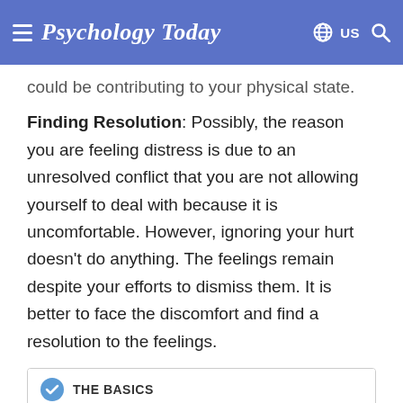Psychology Today
could be contributing to your physical state.
Finding Resolution: Possibly, the reason you are feeling distress is due to an unresolved conflict that you are not allowing yourself to deal with because it is uncomfortable. However, ignoring your hurt doesn't do anything. The feelings remain despite your efforts to dismiss them. It is better to face the discomfort and find a resolution to the feelings.
THE BASICS
What Is Anxiety?